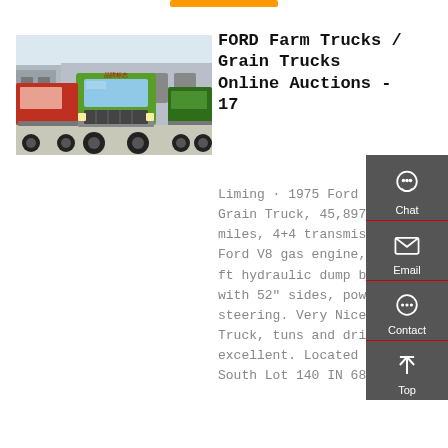[Figure (photo): Green commercial trucks parked in a lot in front of a warehouse building]
FORD Farm Trucks / Grain Trucks Online Auctions - 17
Liming · 1975 Ford F600 Grain Truck, 45,897 miles, 4+4 transmission, Ford V8 gas engine, 14 ft hydraulic dump bed with 52" sides, power steering. Very Nice Truck, tuns and drive excellent. Located on South Lot 140 IN 68...